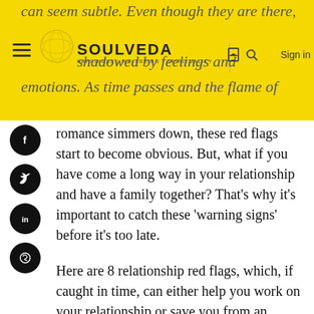can seem subtle. Even though they are there, the Soulveda shadowed by feelings and emotions. As time passes and the flame of
romance simmers down, these red flags start to become obvious. But, what if you have come a long way in your relationship and have a family together? That’s why it’s important to catch these ‘warning signs’ before it’s too late.
Here are 8 relationship red flags, which, if caught in time, can either help you work on your relationship or save you from an impending heartbreak.